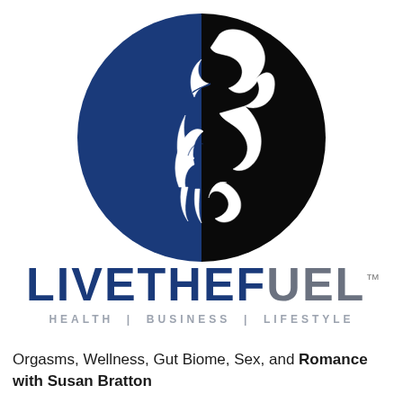[Figure (logo): LiveTheFuel logo: a circle split half blue (left) and half black (right) with a white stylized horse/flame figure in the center. Below the circle: 'LIVETHEFUEL™' in large bold text with blue 'LIVETHEF' and gray 'UEL', and tagline 'HEALTH | BUSINESS | LIFESTYLE' in gray spaced caps.]
Orgasms, Wellness, Gut Biome, Sex, and Romance with Susan Bratton